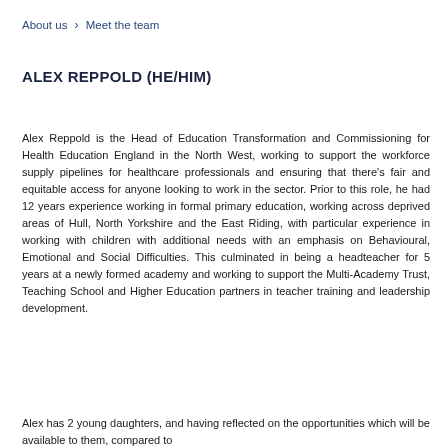About us > Meet the team
ALEX REPPOLD (HE/HIM)
Alex Reppold is the Head of Education Transformation and Commissioning for Health Education England in the North West, working to support the workforce supply pipelines for healthcare professionals and ensuring that there's fair and equitable access for anyone looking to work in the sector. Prior to this role, he had 12 years experience working in formal primary education, working across deprived areas of Hull, North Yorkshire and the East Riding, with particular experience in working with children with additional needs with an emphasis on Behavioural, Emotional and Social Difficulties. This culminated in being a headteacher for 5 years at a newly formed academy and working to support the Multi-Academy Trust, Teaching School and Higher Education partners in teacher training and leadership development.
Alex has 2 young daughters, and having reflected on the opportunities which will be available to them, compared to